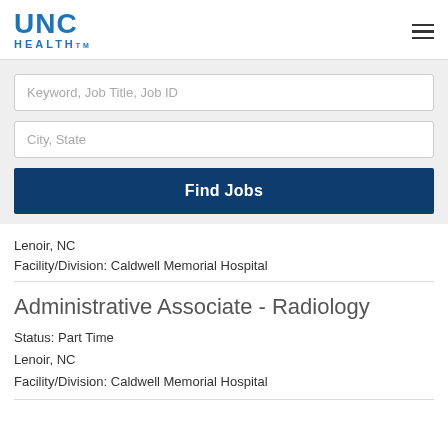UNC HEALTH..
Keyword, Job Title, Job ID
City, State
Find Jobs
Lenoir, NC
Facility/Division: Caldwell Memorial Hospital
Administrative Associate - Radiology
Status: Part Time
Lenoir, NC
Facility/Division: Caldwell Memorial Hospital